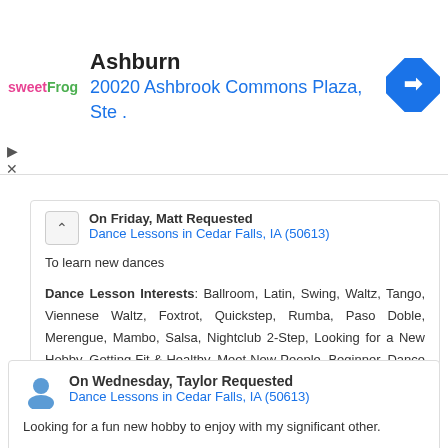[Figure (logo): sweetFrog logo with pink 'sweet' and green 'Frog' text]
Ashburn
20020 Ashbrook Commons Plaza, Ste .
[Figure (other): Blue diamond navigation/directions icon]
On Friday, Matt Requested
Dance Lessons in Cedar Falls, IA (50613)
To learn new dances
Dance Lesson Interests: Ballroom, Latin, Swing, Waltz, Tango, Viennese Waltz, Foxtrot, Quickstep, Rumba, Paso Doble, Merengue, Mambo, Salsa, Nightclub 2-Step, Looking for a New Hobby, Getting Fit & Healthy, Meet New People, Beginner, Dance Lessons, Group Class, Private Lessons, Individual, Adult
[Figure (other): Blue person/user silhouette icon]
On Wednesday, Taylor Requested
Dance Lessons in Cedar Falls, IA (50613)
Looking for a fun new hobby to enjoy with my significant other.